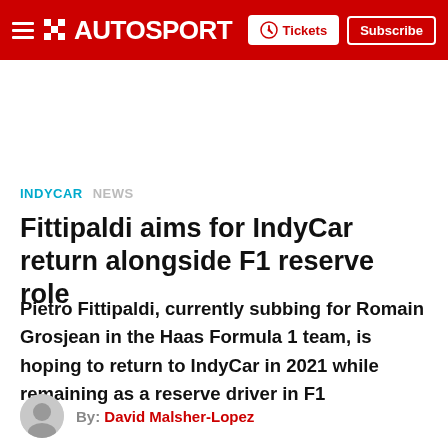AUTOSPORT — Tickets | Subscribe
INDYCAR / NEWS
Fittipaldi aims for IndyCar return alongside F1 reserve role
Pietro Fittipaldi, currently subbing for Romain Grosjean in the Haas Formula 1 team, is hoping to return to IndyCar in 2021 while remaining as a reserve driver in F1
By: David Malsher-Lopez